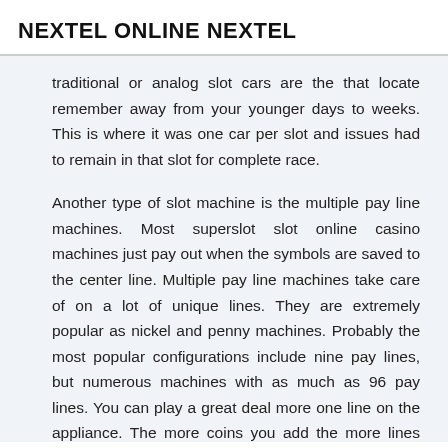NEXTEL ONLINE NEXTEL
traditional or analog slot cars are the that locate remember away from your younger days to weeks. This is where it was one car per slot and issues had to remain in that slot for complete race.
Another type of slot machine is the multiple pay line machines. Most superslot slot online casino machines just pay out when the symbols are saved to the center line. Multiple pay line machines take care of on a lot of unique lines. They are extremely popular as nickel and penny machines. Probably the most popular configurations include nine pay lines, but numerous machines with as much as 96 pay lines. You can play a great deal more one line on the appliance. The more coins you add the more lines this also be activated up